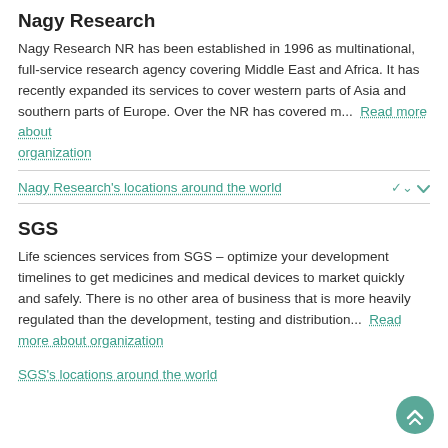Nagy Research
Nagy Research NR has been established in 1996 as multinational, full-service research agency covering Middle East and Africa. It has recently expanded its services to cover western parts of Asia and southern parts of Europe. Over the NR has covered m...  Read more about organization
Nagy Research's locations around the world
SGS
Life sciences services from SGS – optimize your development timelines to get medicines and medical devices to market quickly and safely. There is no other area of business that is more heavily regulated than the development, testing and distribution...  Read more about organization
SGS's locations around the world